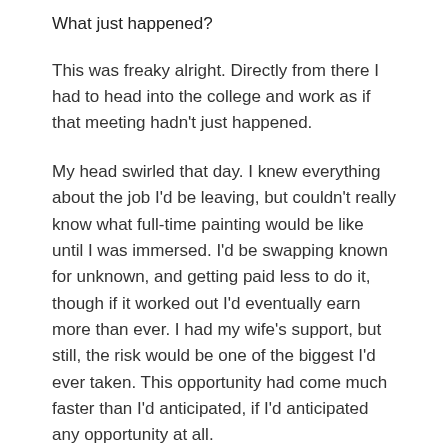What just happened?
This was freaky alright. Directly from there I had to head into the college and work as if that meeting hadn't just happened.
My head swirled that day. I knew everything about the job I'd be leaving, but couldn't really know what full-time painting would be like until I was immersed. I'd be swapping known for unknown, and getting paid less to do it, though if it worked out I'd eventually earn more than ever. I had my wife's support, but still, the risk would be one of the biggest I'd ever taken. This opportunity had come much faster than I'd anticipated, if I'd anticipated any opportunity at all.
…I had to seize it. The next evening I called one of the